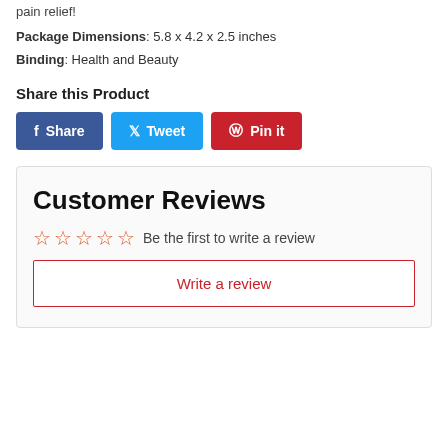pain relief!
Package Dimensions: 5.8 x 4.2 x 2.5 inches
Binding: Health and Beauty
Share this Product
[Figure (other): Social share buttons: Facebook Share, Twitter Tweet, Pinterest Pin it]
Customer Reviews
☆☆☆☆☆ Be the first to write a review
Write a review